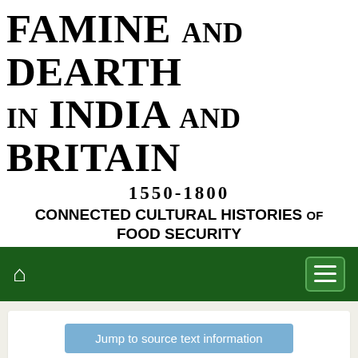FAMINE AND DEARTH IN INDIA AND BRITAIN
1550-1800
CONNECTED CULTURAL HISTORIES OF FOOD SECURITY
[Figure (screenshot): Dark green navigation bar with white home icon on left and hamburger menu button on right]
Jump to source text information
The Imperial Gazetteer of India - Volume XIII